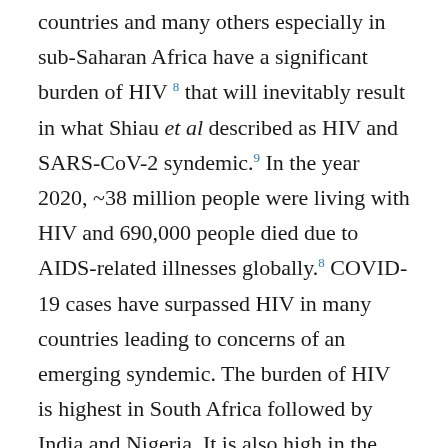countries and many others especially in sub-Saharan Africa have a significant burden of HIV 8 that will inevitably result in what Shiau et al described as HIV and SARS-CoV-2 syndemic.9 In the year 2020, ~38 million people were living with HIV and 690,000 people died due to AIDS-related illnesses globally.8 COVID-19 cases have surpassed HIV in many countries leading to concerns of an emerging syndemic. The burden of HIV is highest in South Africa followed by India and Nigeria. It is also high in the USA (Figure 1).8 India's COVID-19 burden has been high over two waves and it has the third-highest global HIV burden with over 2 million people infected.8 To date, the largest population